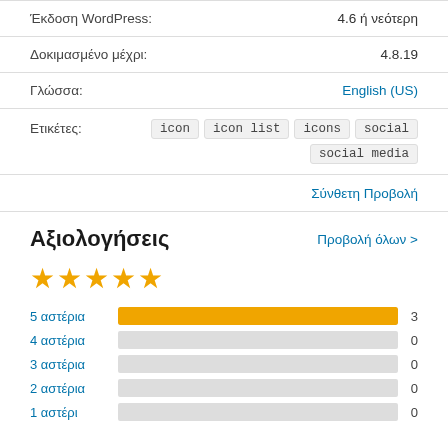Έκδοση WordPress: 4.6 ή νεότερη
Δοκιμασμένο μέχρι: 4.8.19
Γλώσσα: English (US)
Ετικέτες: icon  icon list  icons  social  social media
Σύνθετη Προβολή
Αξιολογήσεις
Προβολή όλων >
[Figure (other): Five yellow stars rating]
| Rating | Count |
| --- | --- |
| 5 αστέρια | 3 |
| 4 αστέρια | 0 |
| 3 αστέρια | 0 |
| 2 αστέρια | 0 |
| 1 αστέρι | 0 |